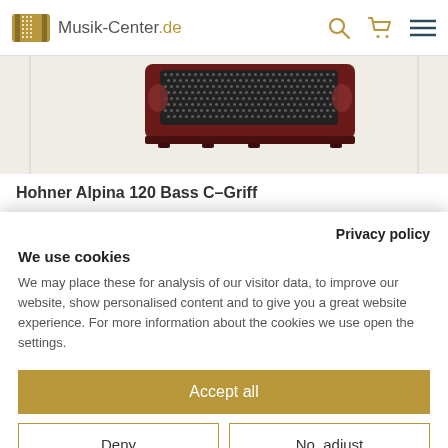Musik-Center.de
[Figure (photo): Hohner Alpina 120 Bass C-Griff accordion, showing the top portion of the instrument with decorative grille and buttons, dark red/maroon finish.]
Hohner Alpina 120 Bass C-Griff
Privacy policy
We use cookies
We may place these for analysis of our visitor data, to improve our website, show personalised content and to give you a great website experience. For more information about the cookies we use open the settings.
Accept all
Deny
No, adjust